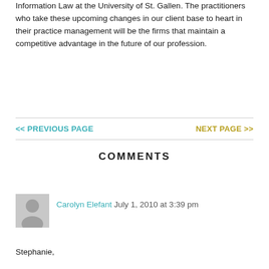Information Law at the University of St. Gallen. The practitioners who take these upcoming changes in our client base to heart in their practice management will be the firms that maintain a competitive advantage in the future of our profession.
<< PREVIOUS PAGE
NEXT PAGE >>
COMMENTS
[Figure (illustration): Generic user avatar placeholder image, grey background with silhouette of person]
Carolyn Elefant  July 1, 2010 at 3:39 pm
Stephanie,